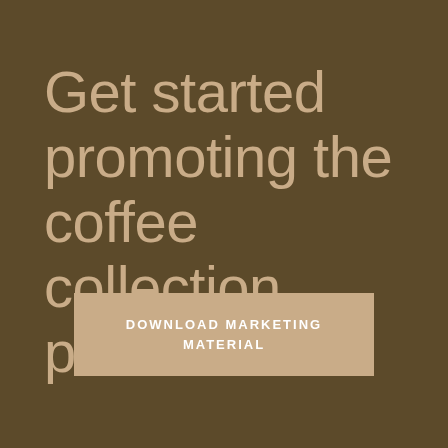Get started promoting the coffee collection presets
DOWNLOAD MARKETING MATERIAL